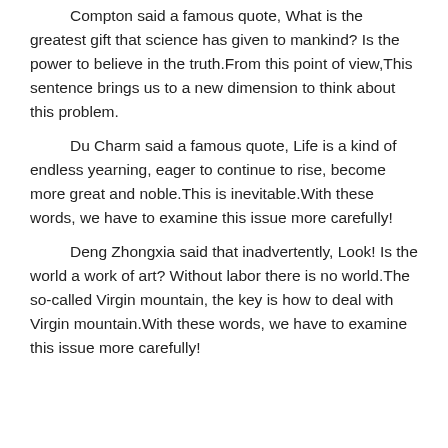Compton said a famous quote, What is the greatest gift that science has given to mankind? Is the power to believe in the truth.From this point of view,This sentence brings us to a new dimension to think about this problem.
Du Charm said a famous quote, Life is a kind of endless yearning, eager to continue to rise, become more great and noble.This is inevitable.With these words, we have to examine this issue more carefully!
Deng Zhongxia said that inadvertently, Look! Is the world a work of art? Without labor there is no world.The so-called Virgin mountain, the key is how to deal with Virgin mountain.With these words, we have to examine this issue more carefully!